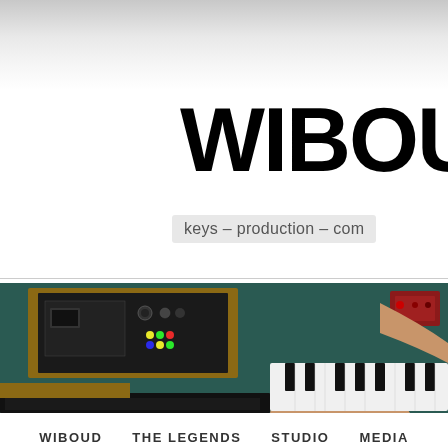WIBOU
keys – production – com
[Figure (photo): Overhead/bird's-eye view photo of a musician playing multiple keyboards and synthesizers on a teal/green surface, with cables visible. A person's arms and hands are visible playing a keytar/keyboard controller.]
WIBOUD   THE LEGENDS   STUDIO   MEDIA